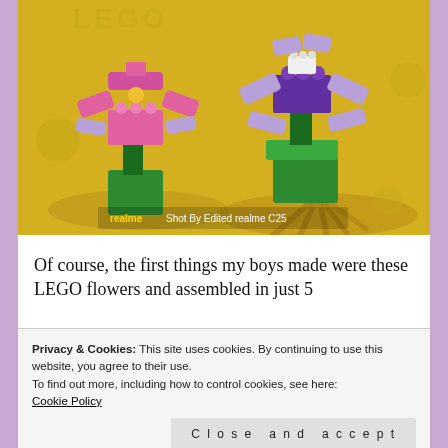[Figure (photo): Photo of two LEGO flower builds on a yellow LEGO base plate. Left flower has pink and lavender petals on a green base. Right flower has purple and lavender petals on a green base. Yellow background with realme watermark: 'realme Shot By Edited realme C25']
Of course, the first things my boys made were these LEGO flowers and assembled in just 5
Privacy & Cookies: This site uses cookies. By continuing to use this website, you agree to their use.
To find out more, including how to control cookies, see here:
Cookie Policy
Close and accept
collection of LEGO bricks has 25 different colours